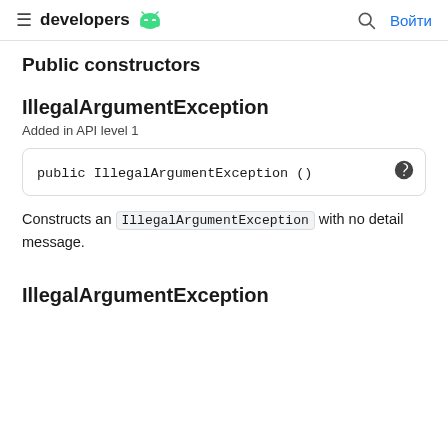developers  [Android logo]  [Search icon]  Войти
Public constructors
IllegalArgumentException
Added in API level 1
public IllegalArgumentException ()
Constructs an IllegalArgumentException with no detail message.
IllegalArgumentException